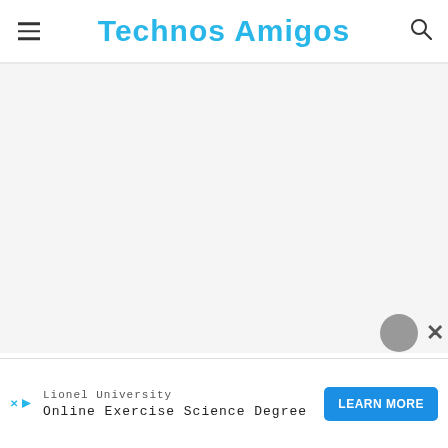Technos Amigos
[Figure (other): Ad dismiss / skip buttons (play and close icons) in the upper right of the page]
[Figure (other): Large blank white/light gray advertisement content area]
[Figure (other): Chat avatar circle and close X button in lower right]
[Figure (other): Bottom advertisement banner for Lionel University Online Exercise Science Degree with LEARN MORE button]